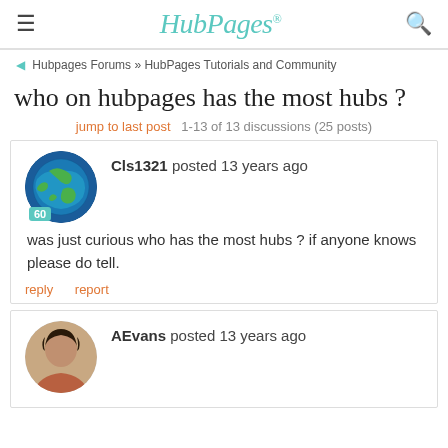HubPages
Hubpages Forums » HubPages Tutorials and Community
who on hubpages has the most hubs ?
jump to last post  1-13 of 13 discussions (25 posts)
Cls1321 posted 13 years ago
was just curious who has the most hubs ? if anyone knows please do tell.
reply   report
AEvans posted 13 years ago